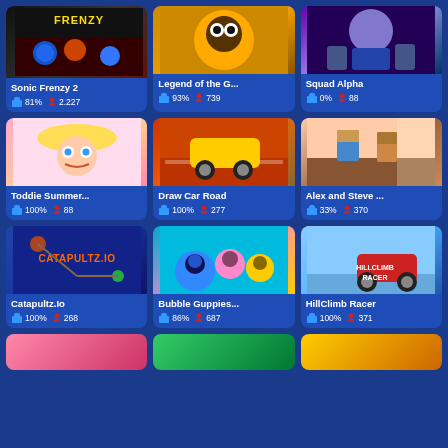[Figure (screenshot): Grid of browser game thumbnails with titles, like ratings, and player counts. Row 1: Sonic Frenzy 2 (81%, 2,227), Legend of the G... (93%, 739), Squad Alpha (0%, 88). Row 2: Toddie Summer... (100%, 88), Draw Car Road (100%, 277), Alex and Steve ... (33%, 370). Row 3: Catapultz.io (100%, 268), Bubble Guppies... (86%, 687), HillClimb Racer (100%, 371). Row 4 (partial): three more games.]